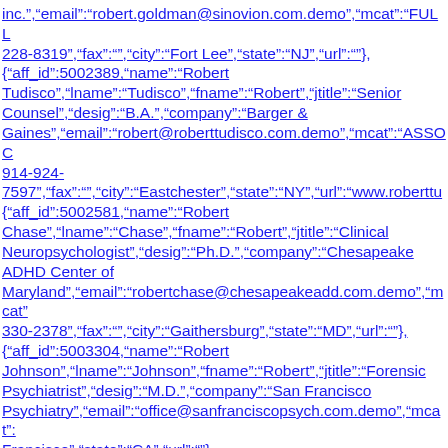inc.","email":"robert.goldman@sinovion.com.demo","mcat":"FULL","phone":"201-228-8319","fax":"","city":"Fort Lee","state":"NJ","url":""}, {"aff_id":5002389,"name":"Robert Tudisco","lname":"Tudisco","fname":"Robert","jtitle":"Senior Counsel","desig":"B.A.","company":"Barger & Gaines","email":"robert@roberttudisco.com.demo","mcat":"ASSOC","phone":"914-924-7597","fax":"","city":"Eastchester","state":"NY","url":"www.roberttu {"aff_id":5002581,"name":"Robert Chase","lname":"Chase","fname":"Robert","jtitle":"Clinical Neuropsychologist","desig":"Ph.D.","company":"Chesapeake ADHD Center of Maryland","email":"robertchase@chesapeakeadd.com.demo","mcat":"330-2378","fax":"","city":"Gaithersburg","state":"MD","url":""}, {"aff_id":5003304,"name":"Robert Johnson","lname":"Johnson","fname":"Robert","jtitle":"Forensic Psychiatrist","desig":"M.D.","company":"San Francisco Psychiatry","email":"office@sanfranciscopsych.com.demo","mcat":"Francisco","state":"CA","url":""}, {"aff_id":5004374,"name":"Robert Jaffe","lname":"Jaffe","fname":"Robert","jtitle":"Assistant Professor","desig":"M.D.","company":"Icahn School of Medicine at Mount Sinai","email":"robert.jaffe@mountsinai.org.demo","mcat":"FULL","York","state":"NY","url":""},{"aff_id":5004517,"name":"Robert Gotti","lname":"Gotti","fname":"Robert","jtitle":"Chief